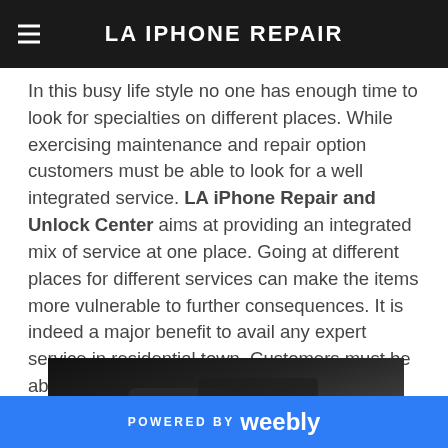LA IPHONE REPAIR
In this busy life style no one has enough time to look for specialties on different places. While exercising maintenance and repair option customers must be able to look for a well integrated service. LA iPhone Repair and Unlock Center aims at providing an integrated mix of service at one place. Going at different places for different services can make the items more vulnerable to further consequences. It is indeed a major benefit to avail any expert service in residential town. Customers must be able to properly communicate their problem to their service provider.
[Figure (photo): Dark photograph showing hands holding a mobile phone/device]
POWERED BY weebly